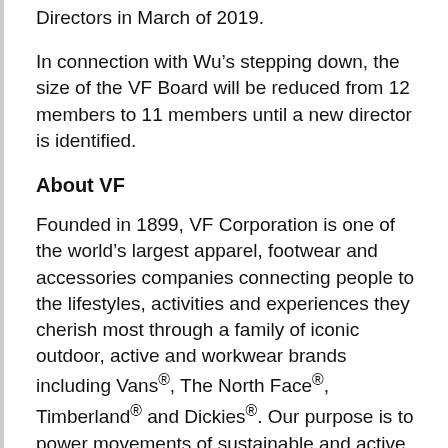Directors in March of 2019.
In connection with Wu’s stepping down, the size of the VF Board will be reduced from 12 members to 11 members until a new director is identified.
About VF
Founded in 1899, VF Corporation is one of the world’s largest apparel, footwear and accessories companies connecting people to the lifestyles, activities and experiences they cherish most through a family of iconic outdoor, active and workwear brands including Vans®, The North Face®, Timberland® and Dickies®. Our purpose is to power movements of sustainable and active lifestyles for the betterment of people and our planet. We connect this